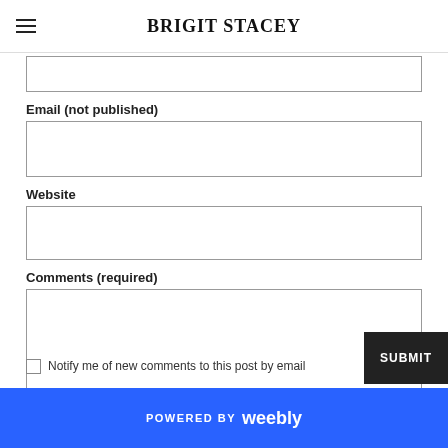BRIGIT STACEY
Email (not published)
Website
Comments (required)
Notify me of new comments to this post by email
POWERED BY weebly